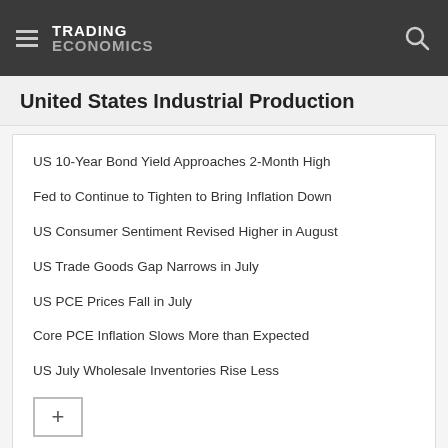TRADING ECONOMICS
United States Industrial Production
US 10-Year Bond Yield Approaches 2-Month High
Fed to Continue to Tighten to Bring Inflation Down
US Consumer Sentiment Revised Higher in August
US Trade Goods Gap Narrows in July
US PCE Prices Fall in July
Core PCE Inflation Slows More than Expected
US July Wholesale Inventories Rise Less
Latest
Week Ahead